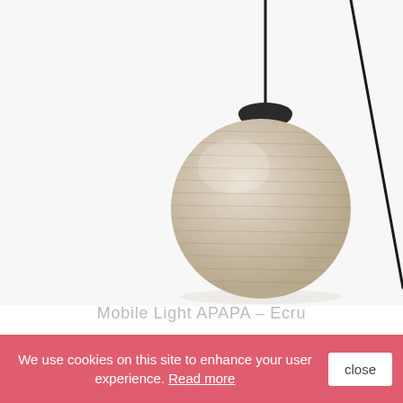[Figure (photo): Product photo of Mobile Light APAPA - Ecru, a pendant lamp with a woven ecru/beige spherical shade and a black cord and ceiling cap, with another angled black cord visible in the upper right.]
Mobile Light APAPA - Ecru
€58.25
We use cookies on this site to enhance your user experience. Read more